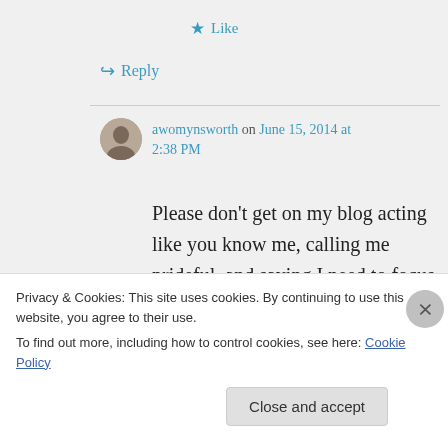★ Like
↪ Reply
awomynsworth on June 15, 2014 at 2:38 PM
Please don't get on my blog acting like you know me, calling me prideful, and saying I need to focus on helping my brothers and sisters.
Privacy & Cookies: This site uses cookies. By continuing to use this website, you agree to their use.
To find out more, including how to control cookies, see here: Cookie Policy